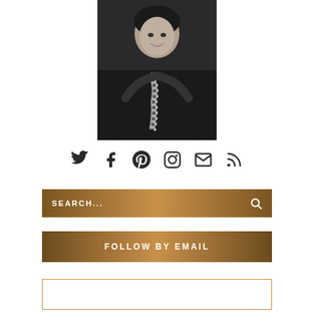[Figure (photo): Black and white portrait photo of a woman smiling, wearing a dark jacket and striped scarf, outdoors]
[Figure (infographic): Row of social media icons: Twitter, Facebook, Pinterest, Instagram, Email, RSS feed]
[Figure (infographic): Search bar with gradient brown background, text SEARCH... and magnifying glass icon]
[Figure (infographic): Follow by email button with gradient brown background]
[Figure (infographic): Bottom outlined box with gold/brown border, partially visible]